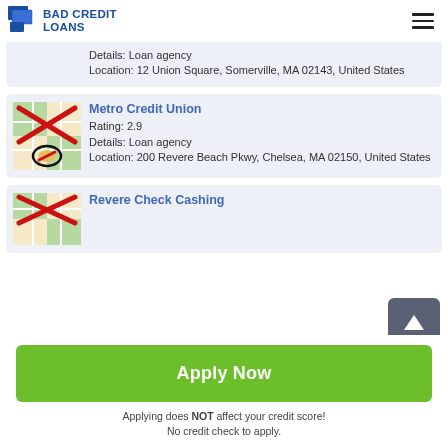BAD CREDIT LOANS
Details: Loan agency
Location: 12 Union Square, Somerville, MA 02143, United States
Metro Credit Union
Rating: 2.9
Details: Loan agency
Location: 200 Revere Beach Pkwy, Chelsea, MA 02150, United States
Revere Check Cashing
Apply Now
Applying does NOT affect your credit score!
No credit check to apply.